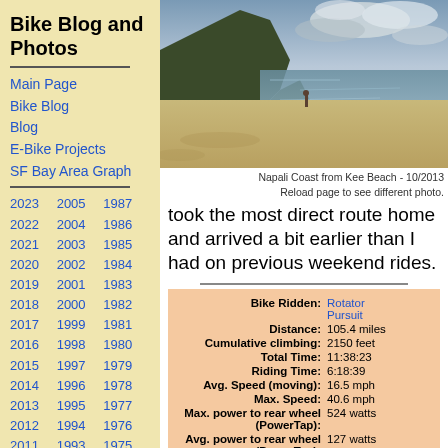Bike Blog and Photos
Main Page
Bike Blog
Blog
E-Bike Projects
SF Bay Area Graph
2023 2005 1987 2022 2004 1986 2021 2003 1985 2020 2002 1984 2019 2001 1983 2018 2000 1982 2017 1999 1981 2016 1998 1980 2015 1997 1979 2014 1996 1978 2013 1995 1977 2012 1994 1976 2011 1993 1975
[Figure (photo): Coastal beach scene with dramatic cliffs and ocean - Napali Coast from Kee Beach]
Napali Coast from Kee Beach - 10/2013
Reload page to see different photo.
took the most direct route home and arrived a bit earlier than I had on previous weekend rides.
| Stat | Value |
| --- | --- |
| Bike Ridden: | Rotator Pursuit |
| Distance: | 105.4 miles |
| Cumulative climbing: | 2150 feet |
| Total Time: | 11:38:23 |
| Riding Time: | 6:18:39 |
| Avg. Speed (moving): | 16.5 mph |
| Max. Speed: | 40.6 mph |
| Max. power to rear wheel (PowerTap): | 524 watts |
| Avg. power to rear wheel (PowerTap): | 127 watts |